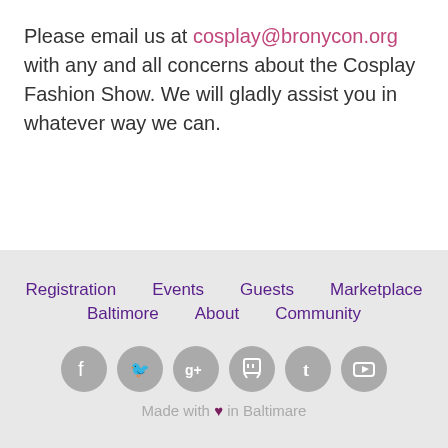Please email us at cosplay@bronycon.org with any and all concerns about the Cosplay Fashion Show. We will gladly assist you in whatever way we can.
Registration | Events | Guests | Marketplace | Baltimore | About | Community | Made with ♥ in Baltimare